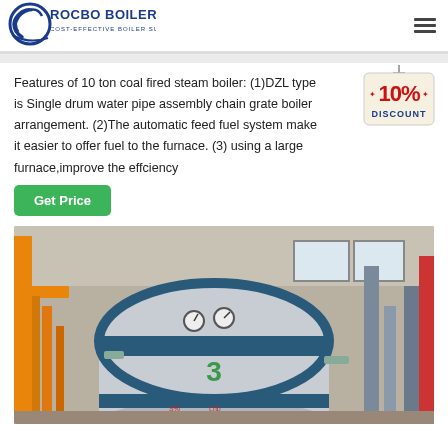[Figure (logo): Rocbo Boiler logo with text ROCBO BOILER and tagline COST-EFFECTIVE BOILER SUPPLIER]
Features of 10 ton coal fired steam boiler: (1)DZL type is Single drum water pipe assembly chain grate boiler arrangement. (2)The automatic feed fuel system make it easier to offer fuel to the furnace. (3) using a large furnace,improve the effciency
[Figure (illustration): 10% DISCOUNT badge/tag illustration in red and blue]
[Figure (photo): Industrial steam boiler installation inside a factory building with orange crane structure, pipes, gauges, and large cylindrical boiler marked with number 3]